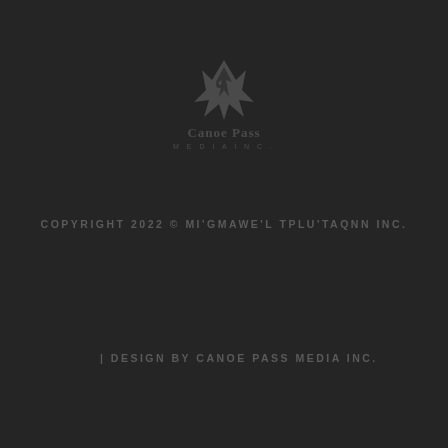[Figure (logo): Canoe Pass Media Inc. logo — stylized wolf/canoe figure above text 'Canoe Pass Media Inc.']
COPYRIGHT 2022 © MI'GMAWE'L TPLU'TAQNN INC.
| DESIGN BY CANOE PASS MEDIA INC.